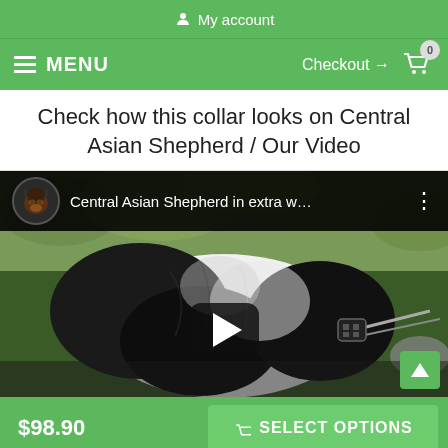My account
MENU  Checkout → 0
Check how this collar looks on Central Asian Shepherd / Our Video
[Figure (screenshot): YouTube video thumbnail showing a Central Asian Shepherd dog wearing a wide leather collar with metal studs, outdoors. Video title bar shows 'Central Asian Shepherd in extra w...' with channel avatar of a Doberman.]
$98.90
SELECT OPTIONS